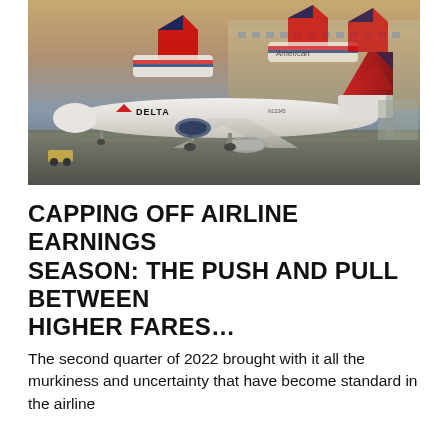[Figure (photo): Photograph of multiple commercial airplanes on a tarmac or runway. A Delta Air Lines aircraft is prominently in the foreground, with American Airlines aircraft visible in the background. The scene appears to be at a busy airport during golden hour lighting.]
CAPPING OFF AIRLINE EARNINGS SEASON: THE PUSH AND PULL BETWEEN HIGHER FARES...
The second quarter of 2022 brought with it all the murkiness and uncertainty that have become standard in the airline